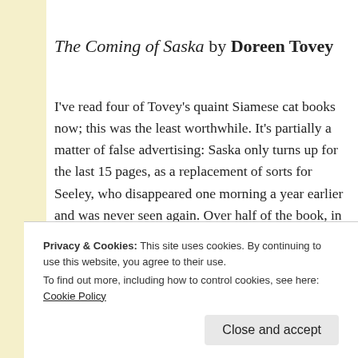The Coming of Saska by Doreen Tovey
I've read four of Tovey's quaint Siamese cat books now; this was the least worthwhile. It's partially a matter of false advertising: Saska only turns up for the last 15 pages, as a replacement of sorts for Seeley, who disappeared one morning a year earlier and was never seen again. Over half of the book, in fact, is about a trip
Privacy & Cookies: This site uses cookies. By continuing to use this website, you agree to their use.
To find out more, including how to control cookies, see here: Cookie Policy